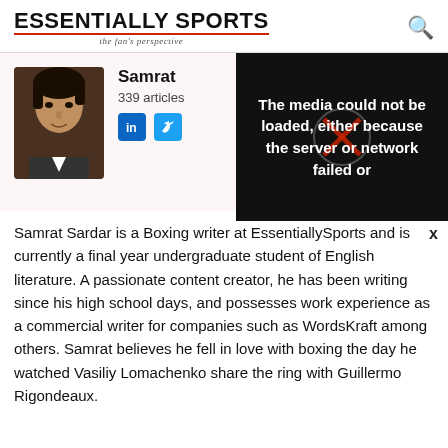ESSENTIALLY SPORTS — the fan's perspective
[Figure (screenshot): Profile photo of Samrat Sardar with media error overlay reading: The media could not be loaded, either because the server or network failed or]
Samrat
339 articles
Samrat Sardar is a Boxing writer at EssentiallySports and is currently a final year undergraduate student of English literature. A passionate content creator, he has been writing since his high school days, and possesses work experience as a commercial writer for companies such as WordsKraft among others. Samrat believes he fell in love with boxing the day he watched Vasiliy Lomachenko share the ring with Guillermo Rigondeaux.